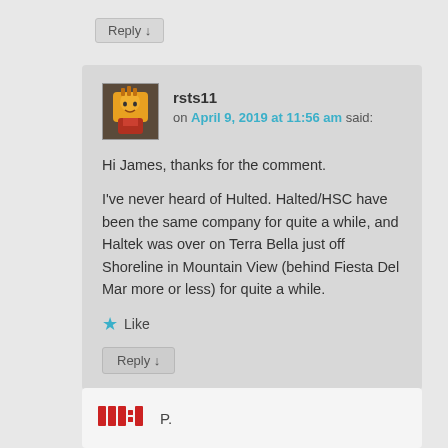Reply ↓
rsts11 on April 9, 2019 at 11:56 am said:
Hi James, thanks for the comment.

I've never heard of Hulted. Halted/HSC have been the same company for quite a while, and Haltek was over on Terra Bella just off Shoreline in Mountain View (behind Fiesta Del Mar more or less) for quite a while.
★ Like
Reply ↓
P.